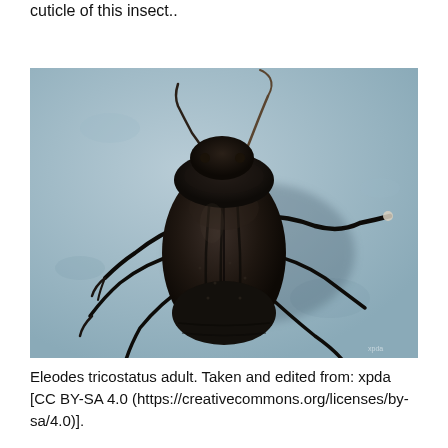cuticle of this insect..
[Figure (photo): Close-up dorsal photograph of an Eleodes tricostatus adult beetle on a light blue surface. The beetle is dark brown/black with prominent ridged elytra and visible legs with claws.]
Eleodes tricostatus adult. Taken and edited from: xpda [CC BY-SA 4.0 (https://creativecommons.org/licenses/by-sa/4.0)].